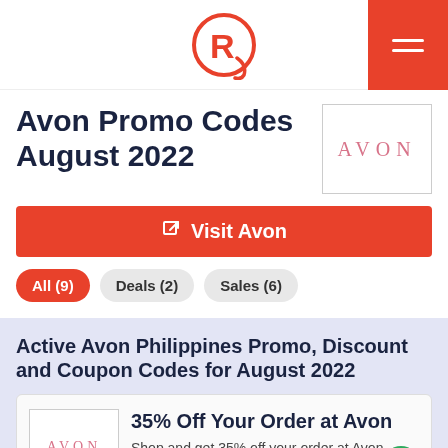Rappler logo header with hamburger menu
Avon Promo Codes August 2022
[Figure (logo): Avon logo in pink letters with border box]
Visit Avon
All (9)
Deals (2)
Sales (6)
Active Avon Philippines Promo, Discount and Coupon Codes for August 2022
[Figure (logo): Avon logo small in coupon card]
35% Off Your Order at Avon
Shop and get 35% off your order at Avon.